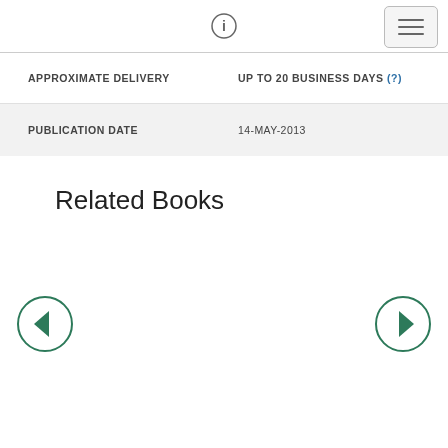ℹ [info icon] [hamburger menu]
|  |  |
| --- | --- |
| APPROXIMATE DELIVERY | UP TO 20 BUSINESS DAYS (?) |
| PUBLICATION DATE | 14-MAY-2013 |
Related Books